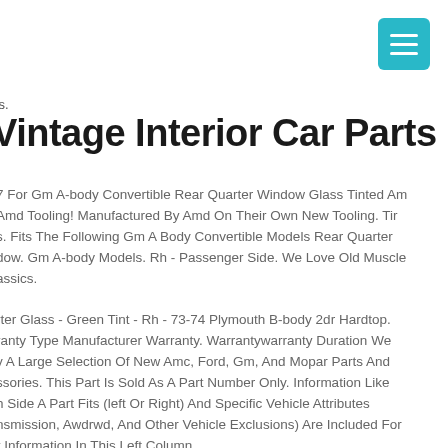[Figure (other): Teal/cyan hamburger menu button icon in top right corner]
Vintage Interior Car Parts
7 For Gm A-body Convertible Rear Quarter Window Glass Tinted Am Amd Tooling! Manufactured By Amd On Their Own New Tooling. Tir s. Fits The Following Gm A Body Convertible Models Rear Quarter dow. Gm A-body Models. Rh - Passenger Side. We Love Old Muscle assics.
rter Glass - Green Tint - Rh - 73-74 Plymouth B-body 2dr Hardtop. ranty Type Manufacturer Warranty. Warrantywarranty Duration We y A Large Selection Of New Amc, Ford, Gm, And Mopar Parts And ssories. This Part Is Sold As A Part Number Only. Information Like h Side A Part Fits (left Or Right) And Specific Vehicle Attributes nsmission, Awdrwd, And Other Vehicle Exclusions) Are Included For r Information In This Left Column.